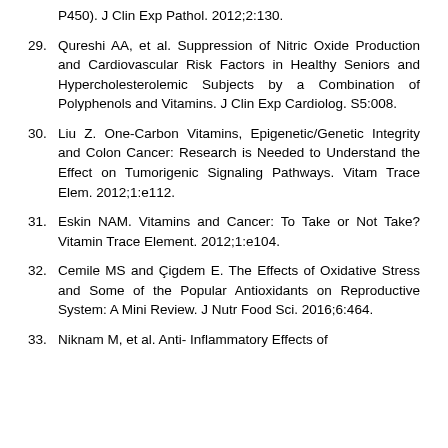P450). J Clin Exp Pathol. 2012;2:130.
29. Qureshi AA, et al. Suppression of Nitric Oxide Production and Cardiovascular Risk Factors in Healthy Seniors and Hypercholesterolemic Subjects by a Combination of Polyphenols and Vitamins. J Clin Exp Cardiolog. S5:008.
30. Liu Z. One-Carbon Vitamins, Epigenetic/Genetic Integrity and Colon Cancer: Research is Needed to Understand the Effect on Tumorigenic Signaling Pathways. Vitam Trace Elem. 2012;1:e112.
31. Eskin NAM. Vitamins and Cancer: To Take or Not Take? Vitamin Trace Element. 2012;1:e104.
32. Cemile MS and Çigdem E. The Effects of Oxidative Stress and Some of the Popular Antioxidants on Reproductive System: A Mini Review. J Nutr Food Sci. 2016;6:464.
33. Niknam M, et al. Anti- Inflammatory Effects of